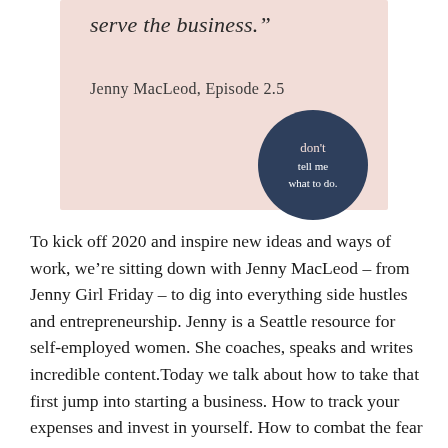[Figure (illustration): Pink background box with partial quote text 'serve the business." ', cursive attribution 'Jenny MacLeod, Episode 2.5', and a dark navy circle logo reading 'don't tell me what to do.']
To kick off 2020 and inspire new ideas and ways of work, we're sitting down with Jenny MacLeod – from Jenny Girl Friday – to dig into everything side hustles and entrepreneurship. Jenny is a Seattle resource for self-employed women. She coaches, speaks and writes incredible content.Today we talk about how to take that first jump into starting a business. How to track your expenses and invest in yourself. How to combat the fear of failure. We dig into how to navigate work life balance when you're starting a new business on the side. And